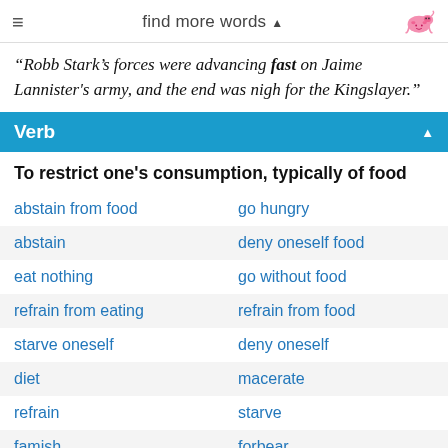≡   find more words ▲
“Robb Stark’s forces were advancing fast on Jaime Lannister's army, and the end was nigh for the Kingslayer.”
Verb
To restrict one’s consumption, typically of food
abstain from food
go hungry
abstain
deny oneself food
eat nothing
go without food
refrain from eating
refrain from food
starve oneself
deny oneself
diet
macerate
refrain
starve
famish
forbear